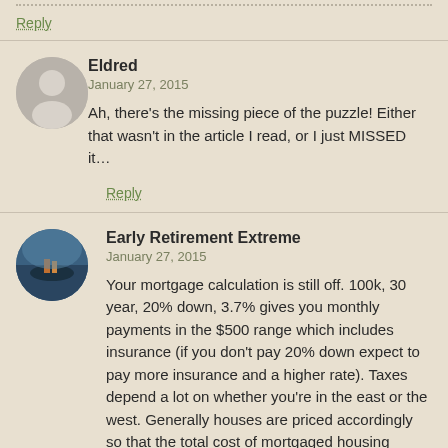Reply
Eldred
January 27, 2015
Ah, there's the missing piece of the puzzle! Either that wasn't in the article I read, or I just MISSED it…
Reply
Early Retirement Extreme
January 27, 2015
Your mortgage calculation is still off. 100k, 30 year, 20% down, 3.7% gives you monthly payments in the $500 range which includes insurance (if you don't pay 20% down expect to pay more insurance and a higher rate). Taxes depend a lot on whether you're in the east or the west. Generally houses are priced accordingly so that the total cost of mortgaged housing (which is most of it) is roughly the same.